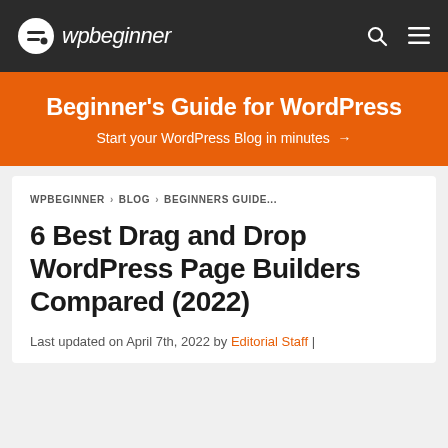wpbeginner
[Figure (infographic): WPBeginner orange banner — Beginner's Guide for WordPress. Start your WordPress Blog in minutes →]
WPBEGINNER > BLOG > BEGINNERS GUIDE...
6 Best Drag and Drop WordPress Page Builders Compared (2022)
Last updated on April 7th, 2022 by Editorial Staff |